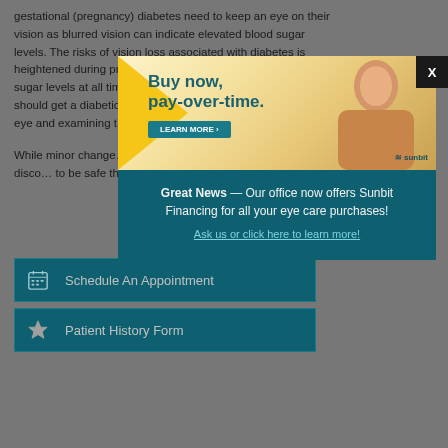gestational (pregnancy) diabetes need to keep an eye on their vision as blurred vision can indicate elevated blood sugar levels. The risks of vision loss associated with diabetes is heightened during pregnancy so it is critical to monitor blood sugar levels at all times. Women with gestational diabetes should get a diabetic eye exam, which includes dilating the eye and examining t…
While minor change… of pregnancy, if at a… vision loss or disco… to be safe than sor…
[Figure (infographic): Sunbit financing advertisement banner: 'Buy now, pay-over-time.' with a woman's photo, Learn More button, and Sunbit logo]
Great News — Our office now offers Sunbit Financing for all your eye care purchases! Ask us or click here to learn more!
Schedule An Appointment
Patient History Form